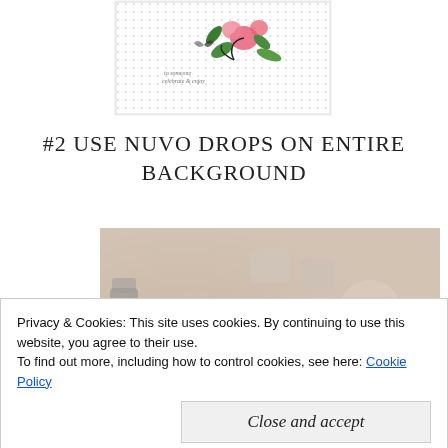[Figure (photo): Partial view of a hand-crafted greeting card with floral stamp design showing pink flowers, green leaves, and black outlines on a dotted background]
#2 USE NUVO DROPS ON ENTIRE BACKGROUND
[Figure (photo): Background photo of craft supplies (bottles, containers) with a white overlay box containing bold text: 'USE NUVO DROPS TO FILL A BACKGROUND']
Privacy & Cookies: This site uses cookies. By continuing to use this website, you agree to their use.
To find out more, including how to control cookies, see here: Cookie Policy
Close and accept
card, but to dress up and enhance an entire card